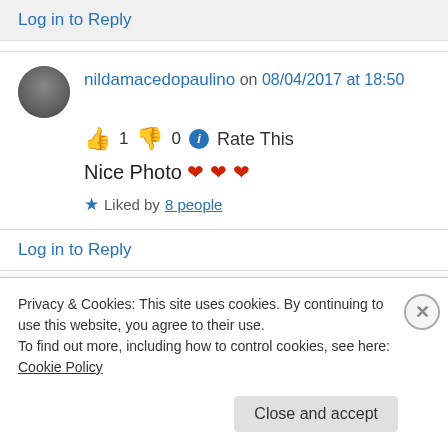Log in to Reply
nildamacedopaulino on 08/04/2017 at 18:50
👍 1 👎 0 ℹ Rate This
Nice Photo ❤ ❤ ❤
★ Liked by 8 people
Log in to Reply
Privacy & Cookies: This site uses cookies. By continuing to use this website, you agree to their use. To find out more, including how to control cookies, see here: Cookie Policy
Close and accept